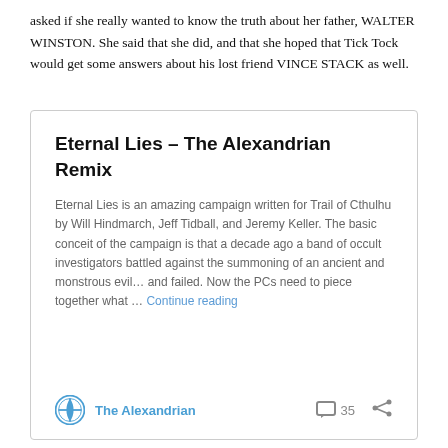asked if she really wanted to know the truth about her father, WALTER WINSTON. She said that she did, and that she hoped that Tick Tock would get some answers about his lost friend VINCE STACK as well.
Eternal Lies – The Alexandrian Remix
Eternal Lies is an amazing campaign written for Trail of Cthulhu by Will Hindmarch, Jeff Tidball, and Jeremy Keller. The basic conceit of the campaign is that a decade ago a band of occult investigators battled against the summoning of an ancient and monstrous evil… and failed. Now the PCs need to piece together what … Continue reading
The Alexandrian  35